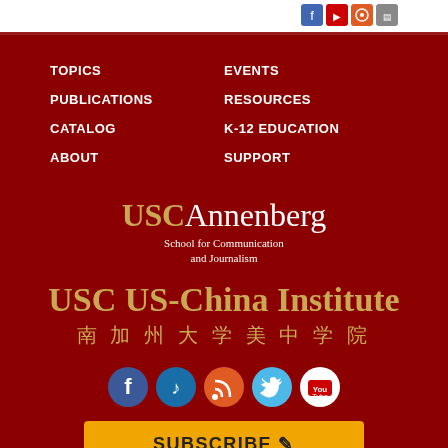[Figure (screenshot): Top bar with small social/share icon buttons on white background]
TOPICS
PUBLICATIONS
CATALOG
ABOUT
EVENTS
RESOURCES
K-12 EDUCATION
SUPPORT
[Figure (logo): USC Annenberg School for Communication and Journalism logo]
USC US-China Institute
南 加 州 大 学 美 中 学 院
[Figure (infographic): Row of social media icons: Facebook, music/iTunes, RSS, Twitter, YouTube]
SUBSCRIBE